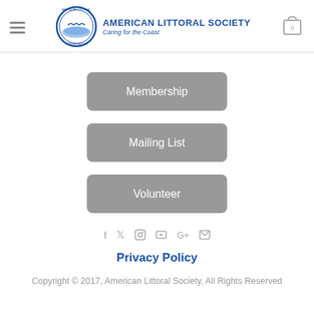American Littoral Society — Caring for the Coast
Membership
Mailing List
Volunteer
f  Twitter  Instagram  YouTube  G+  Email
Privacy Policy
Copyright © 2017, American Littoral Society, All Rights Reserved